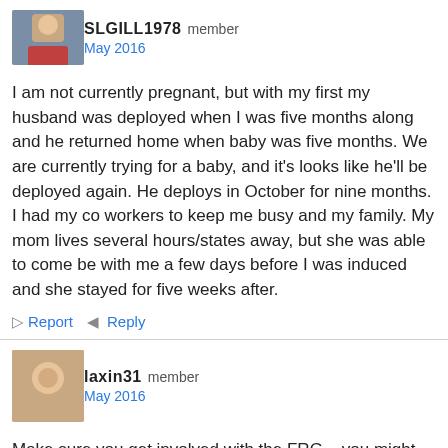SLGILL1978 member
May 2016
I am not currently pregnant, but with my first my husband was deployed when I was five months along and he returned home when baby was five months. We are currently trying for a baby, and it's looks like he'll be deployed again. He deploys in October for nine months. I had my co workers to keep me busy and my family. My mom lives several hours/states away, but she was able to come be with me a few days before I was induced and she stayed for five weeks after.
Report   Reply
laxin31 member
May 2016
Make sure you get involved with the FRG....you might find someone else who is literally in the same shoes as you.  I am not sure what branch of service you are connected with but with the Navy we have a budget for baby class through